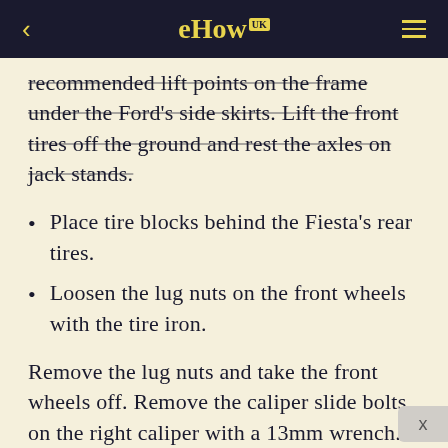eHow UK
recommended lift points on the frame under the Ford's side skirts. Lift the front tires off the ground and rest the axles on jack stands.
Place tire blocks behind the Fiesta's rear tires.
Loosen the lug nuts on the front wheels with the tire iron.
Remove the lug nuts and take the front wheels off. Remove the caliper slide bolts on the right caliper with a 13mm wrench. Turn the right wheel to the left to gain better access to the two slide bolts located on the